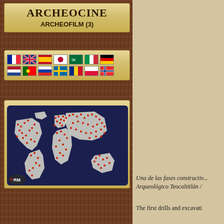ARCHEOCINE
ARCHEOFILM (3)
[Figure (infographic): Row of country flag icons representing multiple nationalities]
[Figure (map): World map with dark blue background and red dot markers showing archaeological sites distributed across all continents, with RM logo in bottom left]
Una de las fases constructiv... Arqueológico Teocaltitlán /
The first drills and excavati